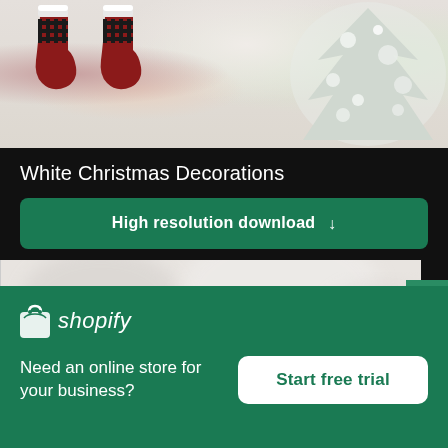[Figure (photo): Christmas stockings hanging with white bows and a frosted white Christmas tree with decorations, holiday decorations scene]
White Christmas Decorations
High resolution download ↓
[Figure (photo): Blurred white and light grey background, soft texture]
[Figure (logo): Shopify logo — shopping bag icon and shopify wordmark in white on green background]
Need an online store for your business?
Start free trial